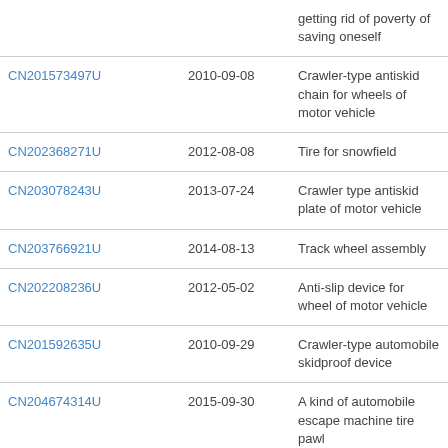|  |  | getting rid of poverty of saving oneself |
| CN201573497U | 2010-09-08 | Crawler-type antiskid chain for wheels of motor vehicle |
| CN202368271U | 2012-08-08 | Tire for snowfield |
| CN203078243U | 2013-07-24 | Crawler type antiskid plate of motor vehicle |
| CN203766921U | 2014-08-13 | Track wheel assembly |
| CN202208236U | 2012-05-02 | Anti-slip device for wheel of motor vehicle |
| CN201592635U | 2010-09-29 | Crawler-type automobile skidproof device |
| CN204674314U | 2015-09-30 | A kind of automobile escape machine tire pawl |
| CN202463486U | 2012-10-03 | Automobile skidproof belt |
| CN204526680U | 2015-08-05 | Automobile anti-skid |